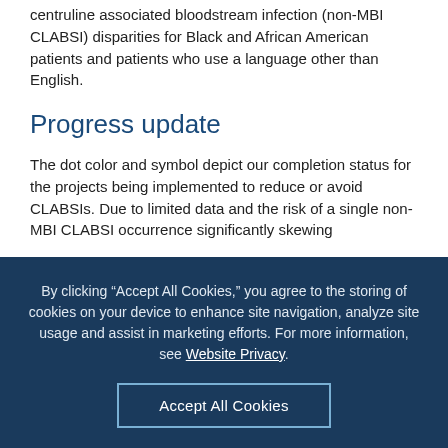centruline associated bloodstream infection (non-MBI CLABSI) disparities for Black and African American patients and patients who use a language other than English.
Progress update
The dot color and symbol depict our completion status for the projects being implemented to reduce or avoid CLABSIs. Due to limited data and the risk of a single non-MBI CLABSI occurrence significantly skewing
By clicking “Accept All Cookies,” you agree to the storing of cookies on your device to enhance site navigation, analyze site usage and assist in marketing efforts. For more information, see Website Privacy.
Accept All Cookies